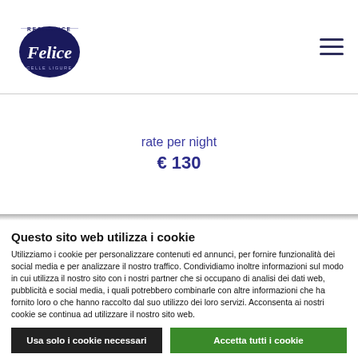[Figure (logo): Residence Felice Celle Ligure logo — cursive blue lettering with 'Felice' script on dark background oval, 'RESIDENCE' and 'CELLE LIGURE' in small caps above and below]
rate per night
€ 130
Questo sito web utilizza i cookie
Utilizziamo i cookie per personalizzare contenuti ed annunci, per fornire funzionalità dei social media e per analizzare il nostro traffico. Condividiamo inoltre informazioni sul modo in cui utilizza il nostro sito con i nostri partner che si occupano di analisi dei dati web, pubblicità e social media, i quali potrebbero combinarle con altre informazioni che ha fornito loro o che hanno raccolto dal suo utilizzo dei loro servizi. Acconsenta ai nostri cookie se continua ad utilizzare il nostro sito web.
Usa solo i cookie necessari
Accetta tutti i cookie
Mostra dettagli